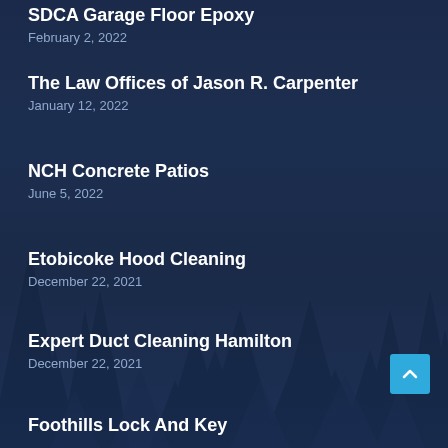SDCA Garage Floor Epoxy
February 2, 2022
The Law Offices of Jason R. Carpenter
January 12, 2022
NCH Concrete Patios
June 5, 2022
Etobicoke Hood Cleaning
December 22, 2021
Expert Duct Cleaning Hamilton
December 22, 2021
Foothills Lock And Key
December 21, 2021